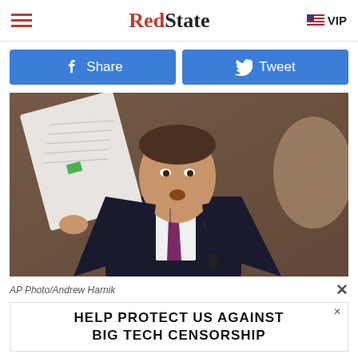RedState | VIP
[Figure (other): Facebook Share button and Twitter Tweet button, blue rounded rectangles side by side]
[Figure (photo): A man in a dark suit and purple tie holding up a document, speaking at a hearing. AP Photo/Andrew Harnik]
AP Photo/Andrew Harnik
[Figure (other): Advertisement banner: HELP PROTECT US AGAINST BIG TECH CENSORSHIP]
Director of National Intelligence, John Ratcliffe just